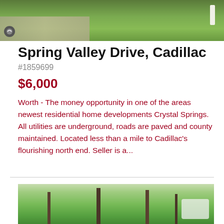[Figure (photo): Aerial or road-level photo showing a gravel/dirt path through green grass, with a white post/sign on the right side and a real estate logo icon on the lower left.]
Spring Valley Drive, Cadillac
#1859699
$6,000
Worth - The money opportunity in one of the areas newest residential home developments Crystal Springs. All utilities are underground, roads are paved and county maintained. Located less than a mile to Cadillac's flourishing north end. Seller is a...
[Figure (photo): Outdoor photo of a wooded area with tall bare and leafy trees against a light sky, with a watermark/logo block in the lower right corner.]